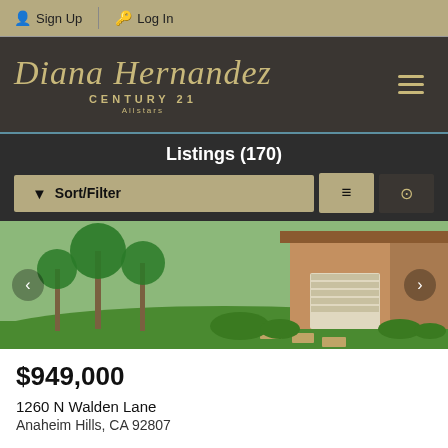Sign Up | Log In
[Figure (logo): Diana Hernandez Century 21 Allstars logo on dark background]
Listings (170)
Sort/Filter buttons and view toggle
[Figure (photo): Front exterior of a house with green lawn, palm trees, and a two-car garage]
$949,000
1260 N Walden Lane
Anaheim Hills, CA 92807